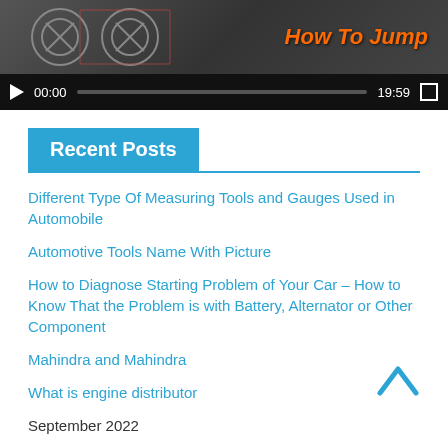[Figure (screenshot): Video player showing 'How To Jump' tutorial video with playback controls. Time display shows 00:00 start and 19:59 total duration.]
Recent Posts
Different Type Of Measuring Tools and Gauges Used in Automobile
Automotive Tools Name With Picture
How to Diagnose Starting Problem of Your Car – How to Know That the Problem is with Battery, Alternator or Other Component
Mahindra and Mahindra
What is engine distributor
September 2022